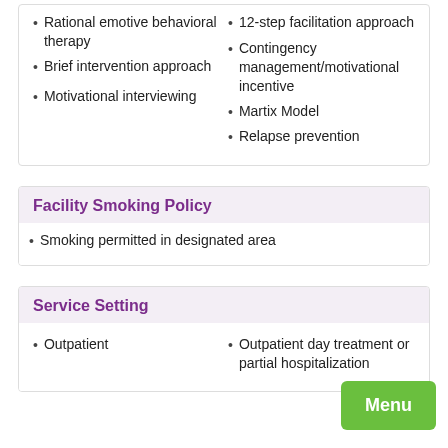Rational emotive behavioral therapy
12-step facilitation approach
Brief intervention approach
Contingency management/motivational incentive
Motivational interviewing
Martix Model
Relapse prevention
Facility Smoking Policy
Smoking permitted in designated area
Service Setting
Outpatient
Outpatient day treatment or partial hospitalization